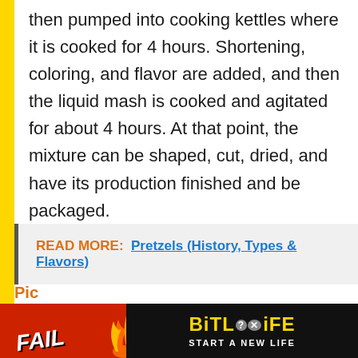then pumped into cooking kettles where it is cooked for 4 hours. Shortening, coloring, and flavor are added, and then the liquid mash is cooked and agitated for about 4 hours. At that point, the mixture can be shaped, cut, dried, and have its production finished and be packaged.
READ MORE:  Pretzels (History, Types & Flavors)
[Figure (screenshot): BitLife advertisement banner with FAIL text, animated character, flames, and START A NEW LIFE tagline]